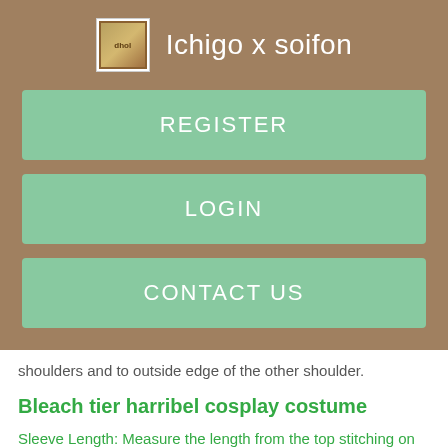Ichigo x soifon
REGISTER
LOGIN
CONTACT US
shoulders and to outside edge of the other shoulder.
Bleach tier harribel cosplay costume
Sleeve Length: Measure the length from the top stitching on the shoulder to the bottom of the wrist. Do not adjust for shrinkage. We will do that for you.
[Figure (photo): Partial image of a blonde-haired character in cosplay costume, visible from neck down]